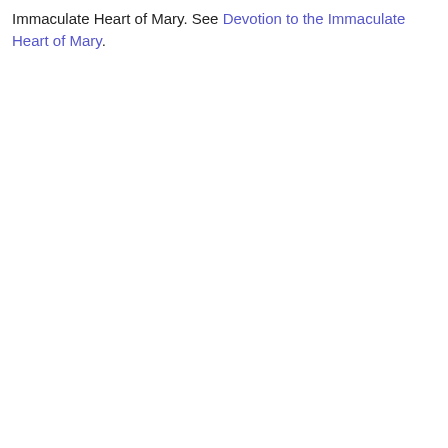Immaculate Heart of Mary. See Devotion to the Immaculate Heart of Mary.